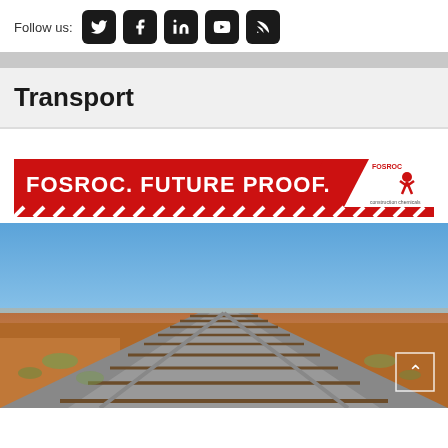Follow us:
Transport
[Figure (logo): Fosroc Future Proof banner advertisement with red background, white bold text reading FOSROC. FUTURE PROOF. and diagonal red/white striped pattern on right side with Fosroc running man logo]
[Figure (photo): Railway tracks stretching into the distance through arid desert landscape under blue sky, perspective view from ground level]